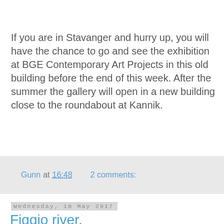If you are in Stavanger and hurry up, you will have the chance to go and see the exhibition at BGE Contemporary Art Projects in this old building before the end of this week. After the summer the gallery will open in a new building close to the roundabout at Kannik.
Gunn at 16:48    2 comments:
Wednesday, 10 May 2017
Figgjo river.
[Figure (photo): Photograph of the Figgjo river showing rocks and blue water reflections]